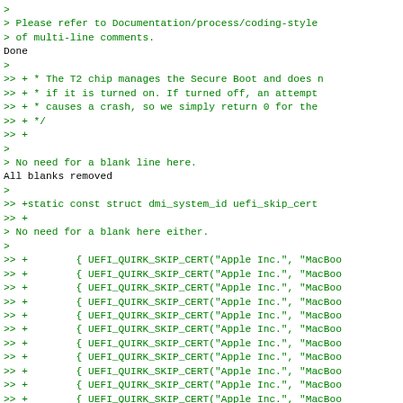> 
> Please refer to Documentation/process/coding-style
> of multi-line comments.
Done
>
>> + * The T2 chip manages the Secure Boot and does n
>> + * if it is turned on. If turned off, an attempt
>> + * causes a crash, so we simply return 0 for the
>> + */
>> +
>
> No need for a blank line here.
All blanks removed
>
>> +static const struct dmi_system_id uefi_skip_cert
>> +
> No need for a blank here either.
>
>> +        { UEFI_QUIRK_SKIP_CERT("Apple Inc.", "MacBoo
>> +        { UEFI_QUIRK_SKIP_CERT("Apple Inc.", "MacBoo
>> +        { UEFI_QUIRK_SKIP_CERT("Apple Inc.", "MacBoo
>> +        { UEFI_QUIRK_SKIP_CERT("Apple Inc.", "MacBoo
>> +        { UEFI_QUIRK_SKIP_CERT("Apple Inc.", "MacBoo
>> +        { UEFI_QUIRK_SKIP_CERT("Apple Inc.", "MacBoo
>> +        { UEFI_QUIRK_SKIP_CERT("Apple Inc.", "MacBoo
>> +        { UEFI_QUIRK_SKIP_CERT("Apple Inc.", "MacBoo
>> +        { UEFI_QUIRK_SKIP_CERT("Apple Inc.", "MacBoo
>> +        { UEFI_QUIRK_SKIP_CERT("Apple Inc.", "MacBoo
>> +        { UEFI_QUIRK_SKIP_CERT("Apple Inc.", "MacBoo
>> +        { UEFI_QUIRK_SKIP_CERT("Apple Inc.", "MacMin
>> +        { UEFI_QUIRK_SKIP_CERT("Apple Inc.", "MacPro
>> +        { UEFI_QUIRK_SKIP_CERT("Apple Inc.", "iMac20